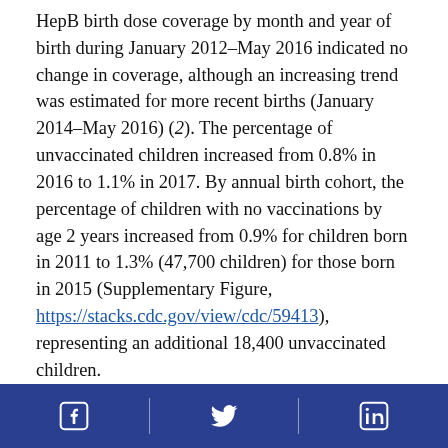HepB birth dose coverage by month and year of birth during January 2012–May 2016 indicated no change in coverage, although an increasing trend was estimated for more recent births (January 2014–May 2016) (2). The percentage of unvaccinated children increased from 0.8% in 2016 to 1.1% in 2017. By annual birth cohort, the percentage of children with no vaccinations by age 2 years increased from 0.9% for children born in 2011 to 1.3% (47,700 children) for those born in 2015 (Supplementary Figure, https://stacks.cdc.gov/view/cdc/59413), representing an additional 18,400 unvaccinated children.
Top
Discussion
Facebook | Twitter | LinkedIn